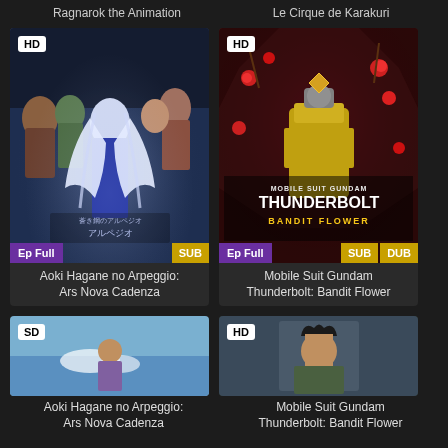Ragnarok the Animation
Le Cirque de Karakuri
[Figure (screenshot): Anime cover art for Aoki Hagane no Arpeggio: Ars Nova Cadenza with HD badge, Ep Full badge in purple, SUB badge in gold]
Aoki Hagane no Arpeggio: Ars Nova Cadenza
[Figure (screenshot): Anime cover art for Mobile Suit Gundam Thunderbolt: Bandit Flower with HD badge, Ep Full badge in purple, SUB and DUB badges in gold]
Mobile Suit Gundam Thunderbolt: Bandit Flower
[Figure (screenshot): Anime thumbnail with SD badge, partial view]
[Figure (screenshot): Anime thumbnail with HD badge, partial view]